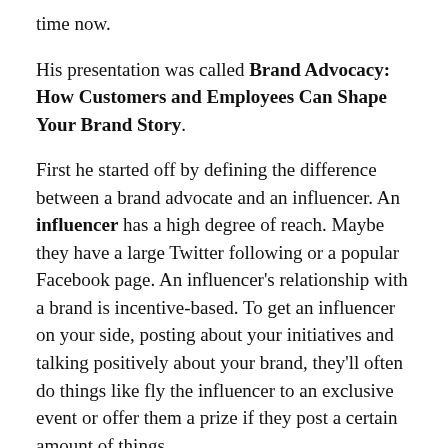time now.
His presentation was called Brand Advocacy: How Customers and Employees Can Shape Your Brand Story.
First he started off by defining the difference between a brand advocate and an influencer. An influencer has a high degree of reach. Maybe they have a large Twitter following or a popular Facebook page. An influencer's relationship with a brand is incentive-based. To get an influencer on your side, posting about your initiatives and talking positively about your brand, they'll often do things like fly the influencer to an exclusive event or offer them a prize if they post a certain amount of things.